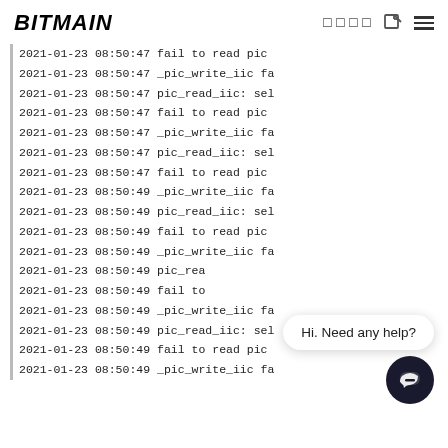BITMAIN
2021-01-23 08:50:47 fail to read pic
2021-01-23 08:50:47 _pic_write_iic fa
2021-01-23 08:50:47 pic_read_iic: sel
2021-01-23 08:50:47 fail to read pic
2021-01-23 08:50:47 _pic_write_iic fa
2021-01-23 08:50:47 pic_read_iic: sel
2021-01-23 08:50:47 fail to read pic
2021-01-23 08:50:49 _pic_write_iic fa
2021-01-23 08:50:49 pic_read_iic: sel
2021-01-23 08:50:49 fail to read pic
2021-01-23 08:50:49 _pic_write_iic fa
2021-01-23 08:50:49 pic_rea
2021-01-23 08:50:49 fail to
2021-01-23 08:50:49 _pic_write_iic fa
2021-01-23 08:50:49 pic_read_iic: sel
2021-01-23 08:50:49 fail to read pic
2021-01-23 08:50:49 _pic_write_iic fa